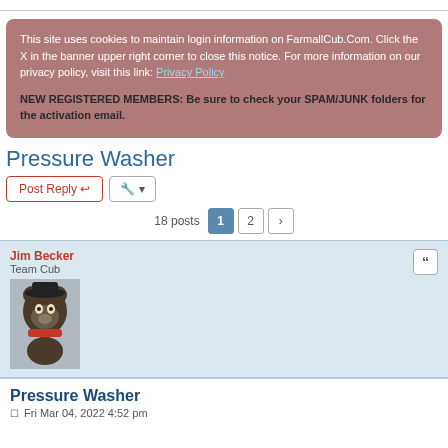This site uses cookies to maintain login information on FarmallCub.Com. Click the X in the banner upper right corner to close this notice. For more information on our privacy policy, visit this link: Privacy Policy
NEW REGISTERED MEMBERS: Be sure to check your SPAM/JUNK folders for the activation email.
Pressure Washer
18 posts · Page 1 2
Jim Becker
Team Cub
Pressure Washer
Fri Mar 04, 2022 4:52 pm